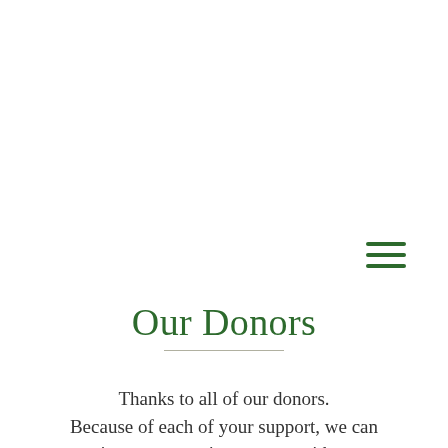[Figure (other): Hamburger menu icon with three horizontal green lines]
Our Donors
Thanks to all of our donors. Because of each of your support, we can continue empowering women with peace